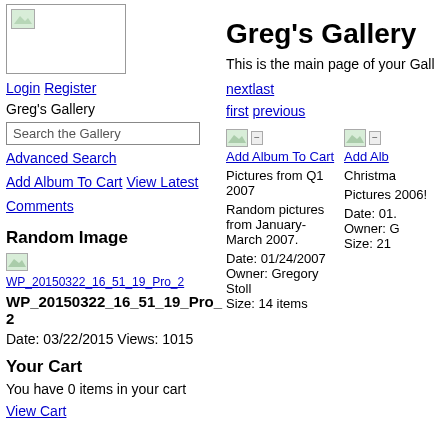[Figure (logo): Logo image placeholder in bordered box]
Login Register
Greg's Gallery
Search the Gallery
Advanced Search
Add Album To Cart  View Latest Comments
Random Image
[Figure (photo): Random image thumbnail]
WP_20150322_16_51_19_Pro_2
WP_20150322_16_51_19_Pro_2
Date: 03/22/2015 Views: 1015
Your Cart
You have 0 items in your cart
View Cart
Greg's Gallery
This is the main page of your Gall
nextlast
first previous
[Figure (photo): Album thumbnail 1]
Add Album To Cart
Pictures from Q1 2007
Random pictures from January-March 2007.
Date: 01/24/2007
Owner: Gregory Stoll
Size: 14 items
[Figure (photo): Album thumbnail 2]
Add Alb
Christma
Pictures 2006!
Date: 01.
Owner: G
Size: 21